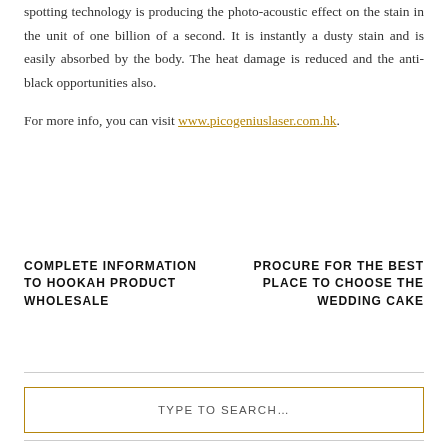spotting technology is producing the photo-acoustic effect on the stain in the unit of one billion of a second. It is instantly a dusty stain and is easily absorbed by the body. The heat damage is reduced and the anti-black opportunities also.
For more info, you can visit www.picogeniuslaser.com.hk.
COMPLETE INFORMATION TO HOOKAH PRODUCT WHOLESALE
PROCURE FOR THE BEST PLACE TO CHOOSE THE WEDDING CAKE
TYPE TO SEARCH…